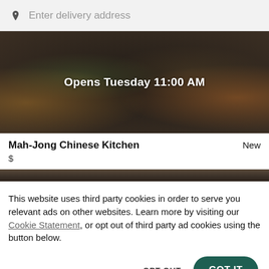Enter delivery address
[Figure (photo): Dimmed food photo banner with text 'Opens Tuesday 11:00 AM' overlaid in white]
Mah-Jong Chinese Kitchen
New
$
This website uses third party cookies in order to serve you relevant ads on other websites. Learn more by visiting our Cookie Statement, or opt out of third party ad cookies using the button below.
OPT OUT
GOT IT